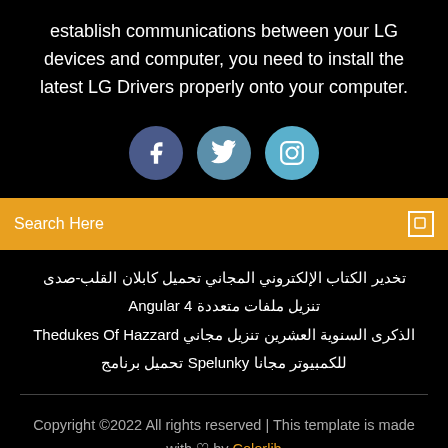establish communications between your LG devices and computer, you need to install the latest LG Drivers properly onto your computer.
[Figure (infographic): Three social media icon circles: Facebook (dark blue), Twitter (medium blue), Instagram (light blue)]
Search Here
تخدير الكتاب الإلكتروني المجاني تحميل كابلان القلب-صدى
تنزيل ملفات متعددة Angular 4
الذكرى السنوية العشرين تنزيل مجاني Thedukes Of Hazzard
للكمبيوتر مجانا Spelunky تحميل برنامج
Copyright ©2022 All rights reserved | This template is made with ♡ by Colorlib